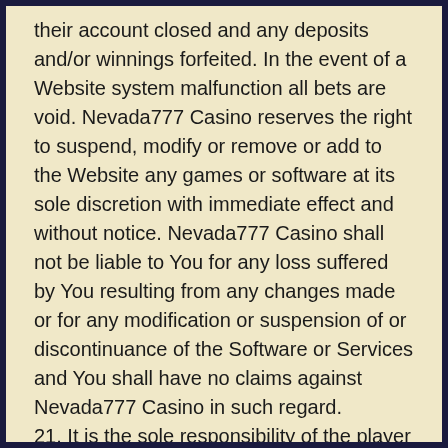their account closed and any deposits and/or winnings forfeited. In the event of a Website system malfunction all bets are void. Nevada777 Casino reserves the right to suspend, modify or remove or add to the Website any games or software at its sole discretion with immediate effect and without notice. Nevada777 Casino shall not be liable to You for any loss suffered by You resulting from any changes made or for any modification or suspension of or discontinuance of the Software or Services and You shall have no claims against Nevada777 Casino in such regard.
21. It is the sole responsibility of the player to account and report relevant taxes on winnings that might be applicable in their jurisdiction.
22. The website, its directors, officers, employees and shareholders shall not be liable for any acts or omissions of fraudulent content published by third-party advertising